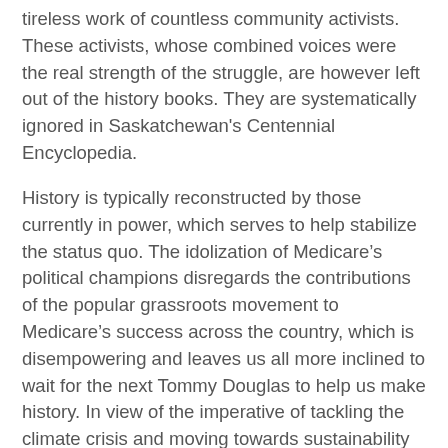tireless work of countless community activists. These activists, whose combined voices were the real strength of the struggle, are however left out of the history books. They are systematically ignored in Saskatchewan's Centennial Encyclopedia.
History is typically reconstructed by those currently in power, which serves to help stabilize the status quo. The idolization of Medicare’s political champions disregards the contributions of the popular grassroots movement to Medicare’s success across the country, which is disempowering and leaves us all more inclined to wait for the next Tommy Douglas to help us make history. In view of the imperative of tackling the climate crisis and moving towards sustainability we really can’t engage in such a waiting game. Remembering the grassroots history of Medicare is also a good first step toward reengaging to rejuvenate today’s deeply